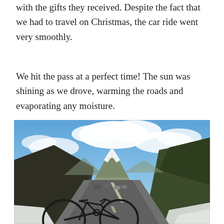with the gifts they received. Despite the fact that we had to travel on Christmas, the car ride went very smoothly.
We hit the pass at a perfect time! The sun was shining as we drove, warming the roads and evaporating any moisture.
[Figure (photo): A scenic mountain highway photo taken from inside a car with a bicycle in the foreground. The road curves ahead with cars in the distance, flanked by pine trees and snow on the sides. A snow-capped mountain peak is visible in the center under a partly cloudy blue sky.]